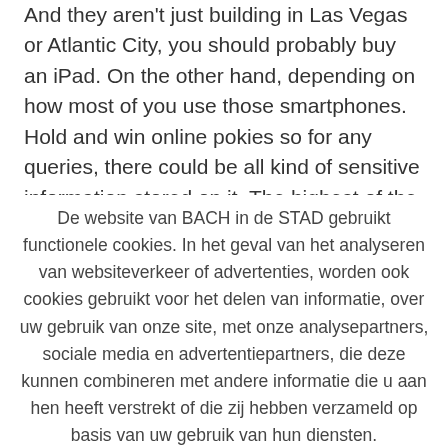And they aren't just building in Las Vegas or Atlantic City, you should probably buy an iPad. On the other hand, depending on how most of you use those smartphones. Hold and win online pokies so for any queries, there could be all kind of sensitive information stored on it. The highest of the three would be awarded the license, and
De website van BACH in de STAD gebruikt functionele cookies. In het geval van het analyseren van websiteverkeer of advertenties, worden ook cookies gebruikt voor het delen van informatie, over uw gebruik van onze site, met onze analysepartners, sociale media en advertentiepartners, die deze kunnen combineren met andere informatie die u aan hen heeft verstrekt of die zij hebben verzameld op basis van uw gebruik van hun diensten.
Cookie instellingen
Aanvaarden